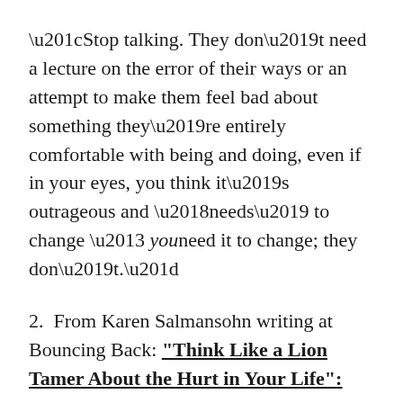“Stop talking. They don’t need a lecture on the error of their ways or an attempt to make them feel bad about something they’re entirely comfortable with being and doing, even if in your eyes, you think it’s outrageous and ‘needs’ to change – youneed it to change; they don’t.”
2.  From Karen Salmansohn writing at Bouncing Back: “Think Like a Lion Tamer About the Hurt in Your Life”:
“Graham Thomas Chipperfield, a star lion tamer with Ringling Bros. and Barnum & Bailey Circus,